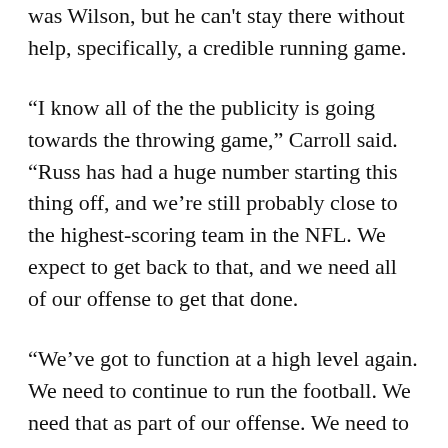was Wilson, but he can't stay there without help, specifically, a credible running game.
“I know all of the the publicity is going towards the throwing game,” Carroll said. “Russ has had a huge number starting this thing off, and we’re still probably close to the highest-scoring team in the NFL. We expect to get back to that, and we need all of our offense to get that done.
“We’ve got to function at a high level again. We need to continue to run the football. We need that as part of our offense. We need to do more than we did yesterday. We want to continue to always work for balance.”
But it was hard to see Monday how that happens in the short-week cruelty of the Thursday night tradition. Pocic and Carsonwere among 10 players that didn’t practice Monday. Carroll was a little more optimistic that Hyde’s hamstring will